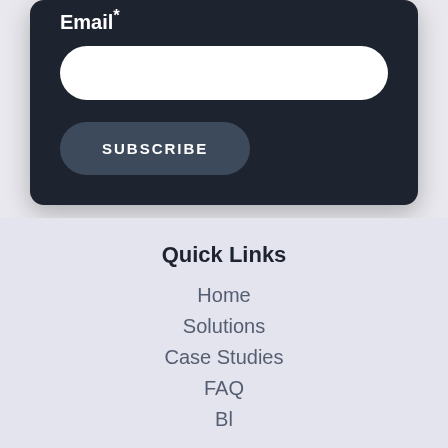Email*
Quick Links
Home
Solutions
Case Studies
FAQ
Blog